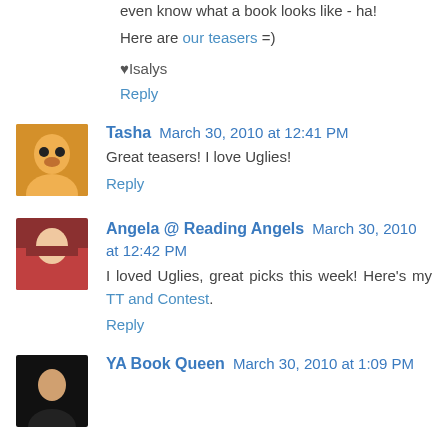even know what a book looks like - ha!
Here are our teasers =)
♥Isalys
Reply
Tasha March 30, 2010 at 12:41 PM
Great teasers! I love Uglies!
Reply
Angela @ Reading Angels March 30, 2010 at 12:42 PM
I loved Uglies, great picks this week! Here's my TT and Contest.
Reply
YA Book Queen March 30, 2010 at 1:09 PM